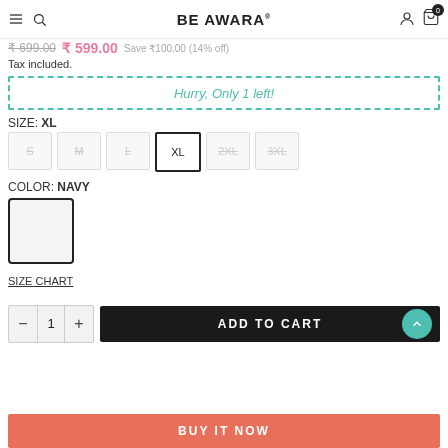BE AWARA
₹ 699.00  ₹ 599.00  Save ₹100.00 (14% off)
Tax included.
Hurry, Only 1 left!
SIZE: XL
S  M  L  XL  2XL  3XL
COLOR: NAVY
SIZE CHART
- 1 +  ADD TO CART
BUY IT NOW